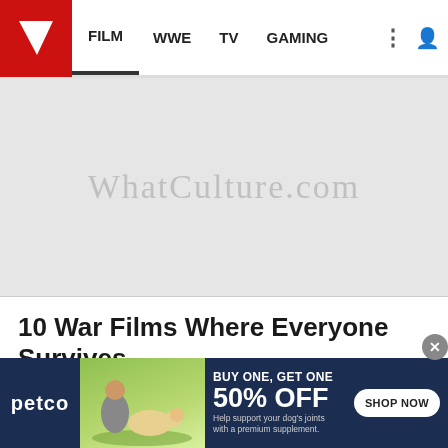FILM  WWE  TV  GAMING
[Figure (screenshot): WhatCulture.com watermark banner area, light gray background]
10 War Films Where Everyone Survives
[Figure (logo): WhatCulture logo watermark on gray background content area]
[Figure (photo): Petco advertisement banner: BUY ONE, GET ONE 50% OFF - Help support your dog's joints with a premium supplement. SHOP NOW]